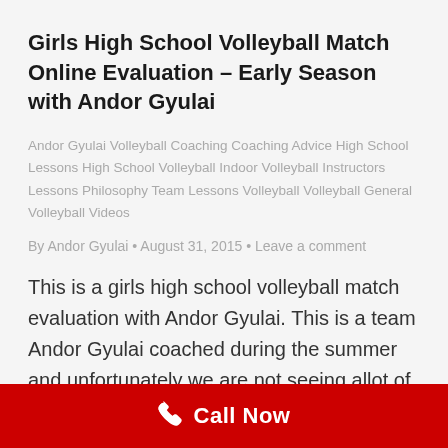Girls High School Volleyball Match Online Evaluation – Early Season with Andor Gyulai
Andor Gyulai Volleyball Coaching Coaching Advice High School Lessons High School Volleyball Indoor Volleyball Instructors Lessons Philosophy Team Lessons Volleyball Volleyball General Volleyball Videos
By Andor Gyulai • August 31, 2015 • Leave a comment
This is a girls high school volleyball match evaluation with Andor Gyulai. This is a team Andor Gyulai coached during the summer and unfortunately we are not seeing allot of the things that we worked so hard on during the summer to get good. This video is a reminder
Call Now